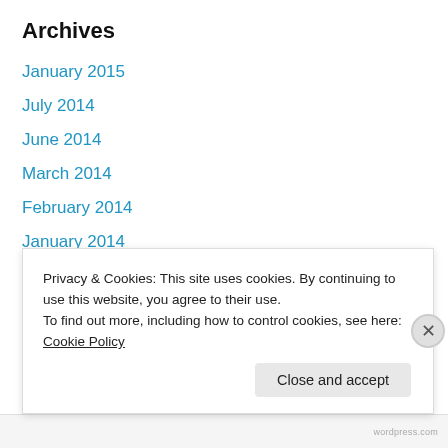Archives
January 2015
July 2014
June 2014
March 2014
February 2014
January 2014
December 2013
November 2013
October 2013
September 2013
August 2013
Privacy & Cookies: This site uses cookies. By continuing to use this website, you agree to their use.
To find out more, including how to control cookies, see here: Cookie Policy